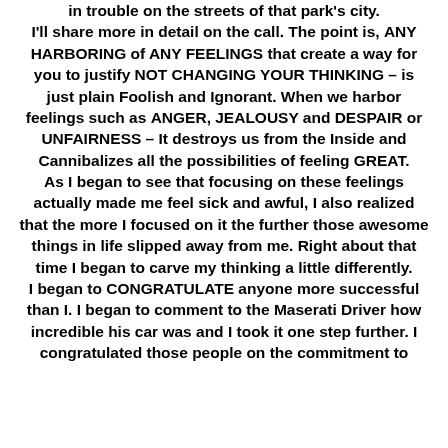in trouble on the streets of that park's city. I'll share more in detail on the call. The point is, ANY HARBORING of ANY FEELINGS that create a way for you to justify NOT CHANGING YOUR THINKING – is just plain Foolish and Ignorant. When we harbor feelings such as ANGER, JEALOUSY and DESPAIR or UNFAIRNESS – It destroys us from the Inside and Cannibalizes all the possibilities of feeling GREAT. As I began to see that focusing on these feelings actually made me feel sick and awful, I also realized that the more I focused on it the further those awesome things in life slipped away from me. Right about that time I began to carve my thinking a little differently. I began to CONGRATULATE anyone more successful than I. I began to comment to the Maserati Driver how incredible his car was and I took it one step further. I congratulated those people on the commitment to